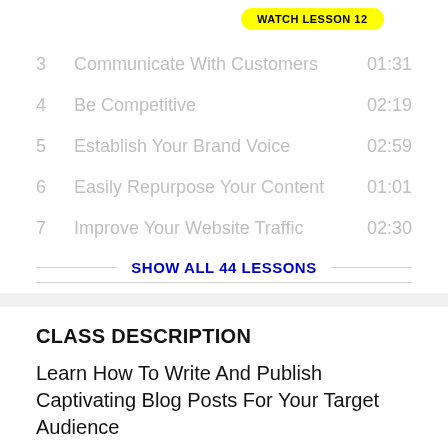3  Communicate With Customers  01:31
4  Be Competitive  02:19
5  Establish Your Brand Voice  02:59
6  Easily Repurpose Your Content  01:01
7  Improve Your Website Traffic  02:30
SHOW ALL 44 LESSONS
CLASS DESCRIPTION
Learn How To Write And Publish Captivating Blog Posts For Your Target Audience